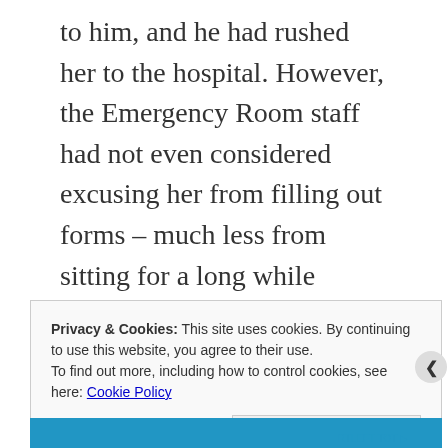to him, and he had rushed her to the hospital. However, the Emergency Room staff had not even considered excusing her from filling out forms – much less from sitting for a long while among other miscellaneous sufferers. The department's remedies for boredom included a television that only played health infotainment, untouchable magazines because of the number of sick people who'd deposited their germs on them, and an improvised game of guess-what-ails-him.
Privacy & Cookies: This site uses cookies. By continuing to use this website, you agree to their use. To find out more, including how to control cookies, see here: Cookie Policy
Close and accept